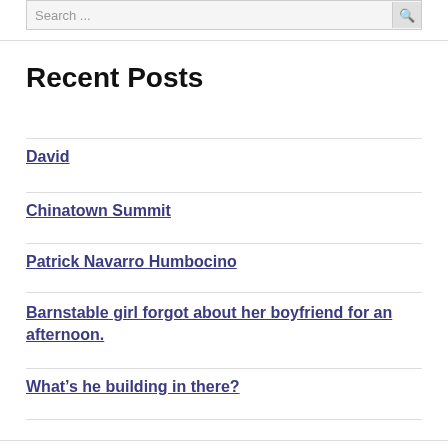Search ...
Recent Posts
David
Chinatown Summit
Patrick Navarro Humbocino
Barnstable girl forgot about her boyfriend for an afternoon.
What's he building in there?